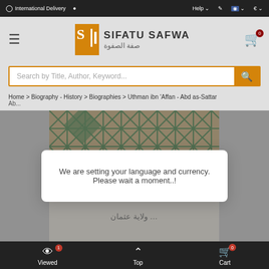International Delivery  Help  €
[Figure (logo): Sifatu Safwa bookstore logo with Arabic text صفة الصفوة]
Search by Title, Author, Keyword...
Home > Biography - History > Biographies > Uthman ibn 'Affan - Abd as-Sattar
We are setting your language and currency. Please wait a moment..!
[Figure (photo): Book cover with Islamic geometric pattern in green and tan, with Arabic calligraphy text below]
Viewed 1  Top  Cart 0